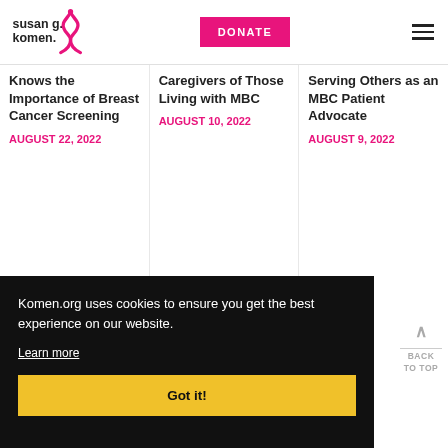[Figure (logo): Susan G. Komen logo with pink ribbon]
DONATE
Knows the Importance of Breast Cancer Screening
AUGUST 22, 2022
Caregivers of Those Living with MBC
AUGUST 10, 2022
Serving Others as an MBC Patient Advocate
AUGUST 9, 2022
Komen.org uses cookies to ensure you get the best experience on our website.
Learn more
Got it!
BACK TO TOP